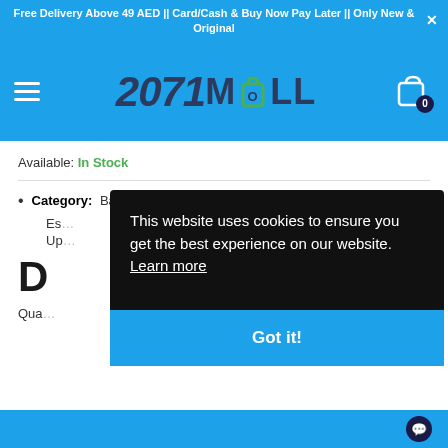Free Delivery Above 49 AED || Card/Cash & Buy Now Pay Later || Only New & Original
[Figure (logo): 2071 MALL logo with shopping bag icon forming the O in MALL, on blue navigation bar with hamburger menu and cart icon showing 0 items]
Available: In Stock
Category: Baby & Toddler, Baby Collections, Baby Es... Up...
D
Qua...
This website uses cookies to ensure you get the best experience on our website. Learn more
Got it!